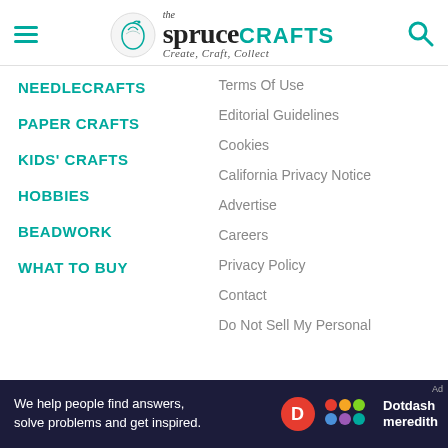the spruce CRAFTS — Create, Craft, Collect
NEEDLECRAFTS
PAPER CRAFTS
KIDS' CRAFTS
HOBBIES
BEADWORK
WHAT TO BUY
Terms Of Use
Editorial Guidelines
Cookies
California Privacy Notice
Advertise
Careers
Privacy Policy
Contact
Do Not Sell My Personal
We help people find answers, solve problems and get inspired. Dotdash meredith